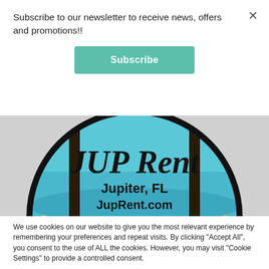Subscribe to our newsletter to receive news, offers and promotions!!
[Figure (other): Subscribe button (teal/green rounded rectangle with white bold text 'Subscribe')]
[Figure (logo): JUP Rent circular logo showing palm trees, beach scene with ocean; text 'JUP Rent' in cursive script, 'Jupiter, FL' and 'JupRent.com' below]
We use cookies on our website to give you the most relevant experience by remembering your preferences and repeat visits. By clicking "Accept All", you consent to the use of ALL the cookies. However, you may visit "Cookie Settings" to provide a controlled consent.
[Figure (other): Cookie Settings button (light gray) and Accept All button (teal)]